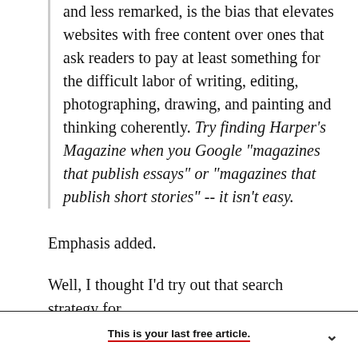and less remarked, is the bias that elevates websites with free content over ones that ask readers to pay at least something for the difficult labor of writing, editing, photographing, drawing, and painting and thinking coherently. Try finding Harper's Magazine when you Google "magazines that publish essays" or "magazines that publish short stories" -- it isn't easy.
Emphasis added.
Well, I thought I'd try out that search strategy for
This is your last free article.